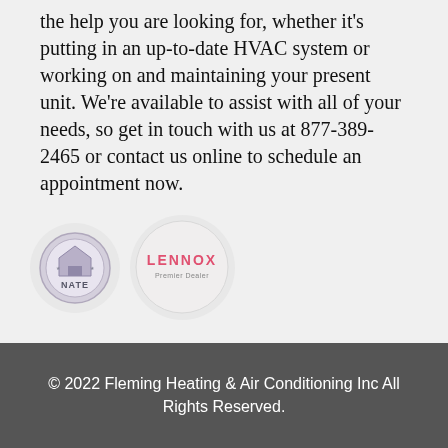the help you are looking for, whether it's putting in an up-to-date HVAC system or working on and maintaining your present unit. We're available to assist with all of your needs, so get in touch with us at 877-389-2465 or contact us online to schedule an appointment now.
[Figure (logo): NATE certification logo — circular badge with house icon and 'NATE' text]
[Figure (logo): Lennox Premier Dealer logo — circular light background with LENNOX text in pink/red and 'Premier Dealer' below]
© 2022 Fleming Heating & Air Conditioning Inc All Rights Reserved.